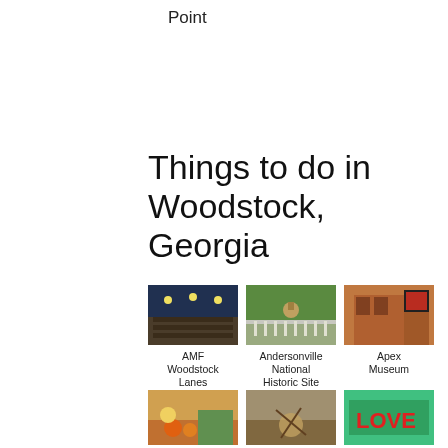Point
Things to do in Woodstock, Georgia
[Figure (photo): AMF Woodstock Lanes - bowling alley interior]
AMF Woodstock Lanes
[Figure (photo): Andersonville National Historic Site - cemetery with trees]
Andersonville National Historic Site
[Figure (photo): Apex Museum - brick building exterior with signage]
Apex Museum
[Figure (photo): Berry Patch - outdoor produce stand with pumpkins]
Berry Patch
[Figure (photo): Big Springs - outdoor scene with animals]
Big Springs
[Figure (photo): Blue Frog - LOVE sign in red letters]
Blue Frog